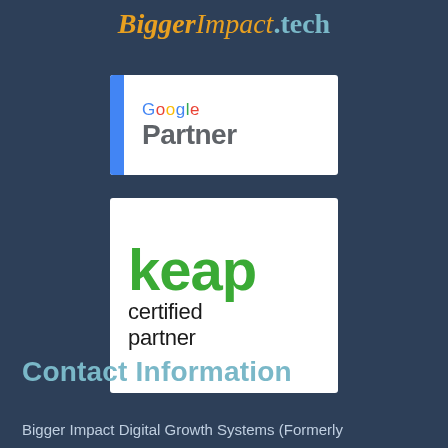[Figure (logo): BiggerImpact.tech logo in stylized script font with orange and teal colors]
[Figure (logo): Google Partner badge: white box with blue left bar, 'Google' in multicolor text, 'Partner' in gray bold]
[Figure (logo): Keap certified partner logo: white box with 'keap' in large green bold text, 'certified partner' in black below]
Contact Information
Bigger Impact Digital Growth Systems (Formerly